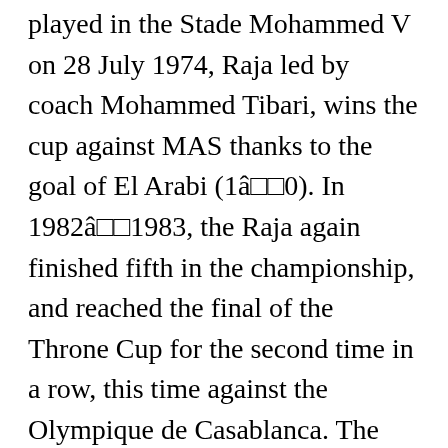played in the Stade Mohammed V on 28 July 1974, Raja led by coach Mohammed Tibari, wins the cup against MAS thanks to the goal of El Arabi (1â□□0). In 1982â□□1983, the Raja again finished fifth in the championship, and reached the final of the Throne Cup for the second time in a row, this time against the Olympique de Casablanca. The team have played 27 finals in major competitions and won 30 trophies, including 20 national titles and 10 international titles. [7] The animal's charisma is very representative of the history of the club, Raja was able to fly over the opponents despite the constraints. On 30 January, Raja announces the designation Patrice Carteron as new coach with a